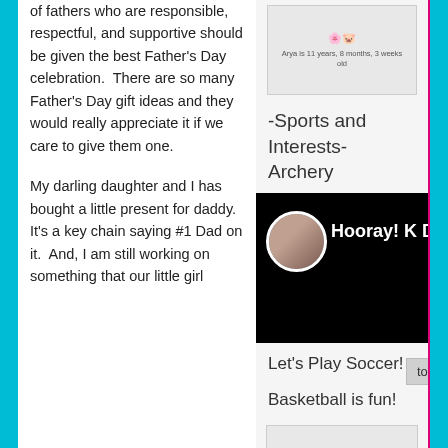of fathers who are responsible, respectful, and supportive should be given the best Father's Day celebration.  There are so many Father's Day gift ideas and they would really appreciate it if we care to give them one.
My darling daughter and I has bought a little present for daddy.  It's a key chain saying #1 Dad on it.  And, I am still working on something that our little girl
[Figure (illustration): Small decorative image in sidebar, appears to be a children's themed illustration with text 'Arya is 11 years, 8 months, 3 weeks old']
-Sports and Interests- Archery
[Figure (photo): Video thumbnail showing a woman with circular avatar on black background with text 'Hooray! K D']
Let's Play Soccer!
Basketball is fun!
top